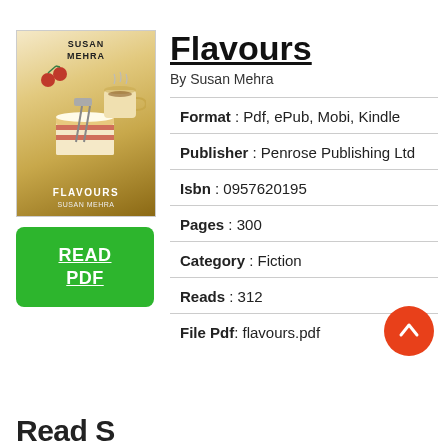[Figure (illustration): Book cover for 'Flavours' by Susan Mehra showing a cake and coffee illustration with author name at top]
[Figure (other): Green 'READ PDF' button]
Flavours
By Susan Mehra
Format : Pdf, ePub, Mobi, Kindle
Publisher : Penrose Publishing Ltd
Isbn : 0957620195
Pages : 300
Category : Fiction
Reads : 312
File Pdf: flavours.pdf
[Figure (other): Orange circular scroll-up arrow button]
Read S